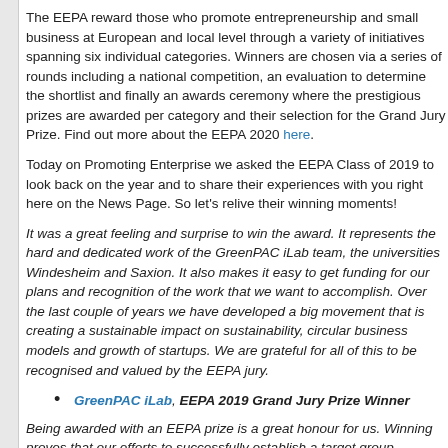The EEPA reward those who promote entrepreneurship and small business at European and local level through a variety of initiatives spanning six individual categories. Winners are chosen via a series of rounds including a national competition, an evaluation to determine the shortlist and finally an awards ceremony where the prestigious prizes are awarded per category and their selection for the Grand Jury Prize. Find out more about the EEPA 2020 here.
Today on Promoting Enterprise we asked the EEPA Class of 2019 to look back on the year and to share their experiences with you right here on the News Page. So let's relive their winning moments!
It was a great feeling and surprise to win the award. It represents the hard and dedicated work of the GreenPAC iLab team, the universities Windesheim and Saxion. It also makes it easy to get funding for our plans and recognition of the work that we want to accomplish. Over the last couple of years we have developed a big movement that is creating a sustainable impact on sustainability, circular business models and growth of startups. We are grateful for all of this to be recognised and valued by the EEPA jury.
GreenPAC iLab, EEPA 2019 Grand Jury Prize Winner
Being awarded with an EEPA prize is a great honour for us. Winning proves that our efforts to successfully establish a target group-oriented offer for nascent and early-stage founders have paid off. Special thanks go to our volunteer mentors who have contributed to this success story. We would also like to thank our founders, who have brought ideas alive with their good ideas. Unfortunately, our team could not be present in Brussels, but we would also like to thank our EEPA National Coordinator Ms. Kum... us and accepted our prize on our behalf. Thank you very much.